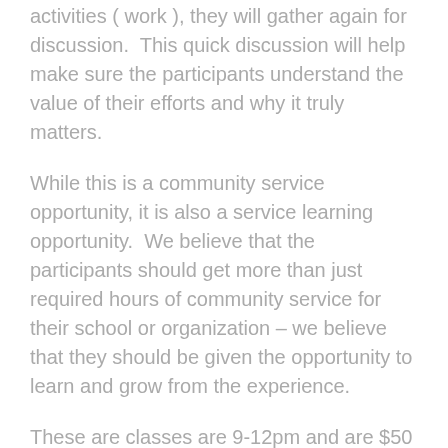activities ( work ), they will gather again for discussion.  This quick discussion will help make sure the participants understand the value of their efforts and why it truly matters.
While this is a community service opportunity, it is also a service learning opportunity.  We believe that the participants should get more than just required hours of community service for their school or organization – we believe that they should be given the opportunity to learn and grow from the experience.
These are classes are 9-12pm and are $50 for the day. Sign up for 1 or more days, no commitment for multiple days.